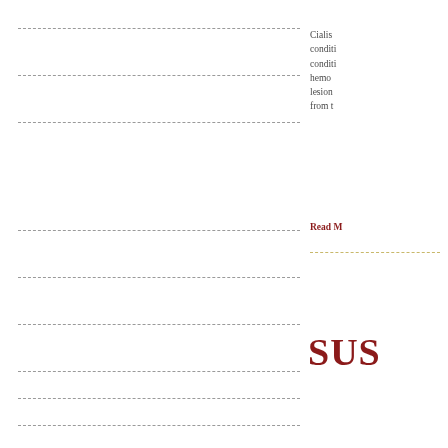Cialis conditions condition hemo lesion from t
Read M
SUS